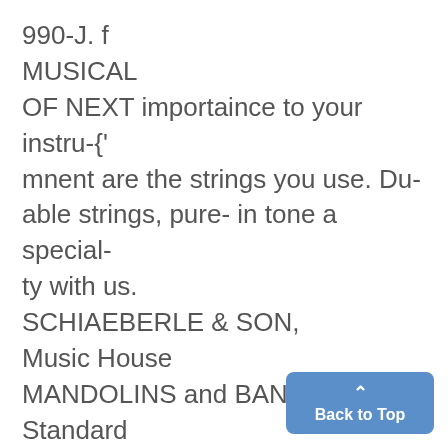990-J. f
MUSICAL
OF NEXT importaince to your instru-{'
mnent are the strings you use. Du-
able strings, pure- in tone a special-
ty with us.
SCHIAEBERLE & SON,
Music House
MANDOLINS and BANJO S--Standard
mnakes, g ood value. Con:e in andc
try themn., Seaeberle & ~Son, Music
Ilcou c. 110°S. Main St.
THE MICIG AN c SiIRNS present
|3oe 141 cy ah14- his fite piece co/5|.